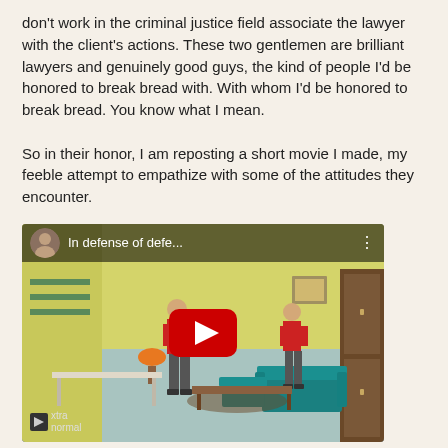don't work in the criminal justice field associate the lawyer with the client's actions. These two gentlemen are brilliant lawyers and genuinely good guys, the kind of people I'd be honored to break bread with. With whom I'd be honored to break bread. You know what I mean.

So in their honor, I am reposting a short movie I made, my feeble attempt to empathize with some of the attitudes they encounter.
[Figure (screenshot): Embedded YouTube video thumbnail showing an animated 3D scene with the title 'In defense of defe...' An animated room with two characters in red shirts, a cat, teal sofa, yellow walls, orange lamp. A red YouTube play button is overlaid in the center. Top bar shows a circular avatar photo of a man and video title. Bottom left shows 'xtranormal' logo.]